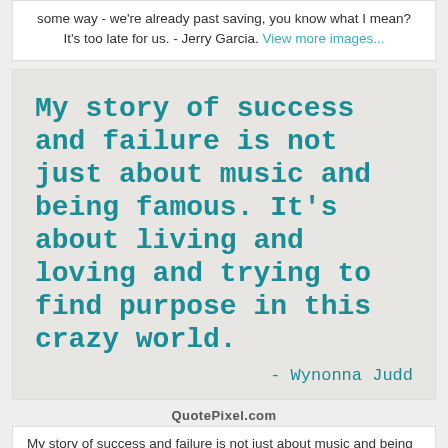some way - we're already past saving, you know what I mean? It's too late for us. - Jerry Garcia. View more images...
[Figure (infographic): Quote card with teal monospace text on light gray background. Quote: 'My story of success and failure is not just about music and being famous. It's about living and loving and trying to find purpose in this crazy world.' - Wynonna Judd]
QuotePixel.com
My story of success and failure is not just about music and being famous. It's about living and loving and trying